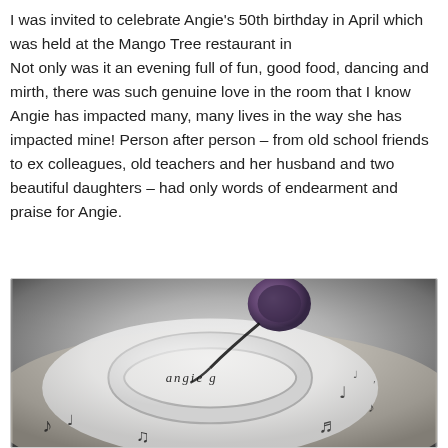I was invited to celebrate Angie's 50th birthday in April which was held at the Mango Tree restaurant in Not only was it an evening full of fun, good food, dancing and mirth, there was such genuine love in the room that I know Angie has impacted many, many lives in the way she has impacted mine! Person after person – from old school friends to ex colleagues, old teachers and her husband and two beautiful daughters – had only words of endearment and praise for Angie.
[Figure (photo): Close-up photo of a silver metal cuff bracelet engraved with 'angie g', resting on a white cake decorated with black musical notes, with a purple headphone visible in the background.]